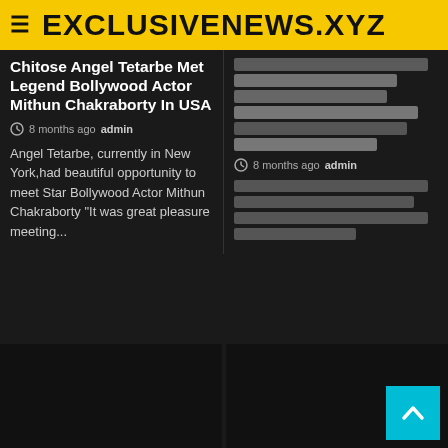EXCLUSIVENEWS.XYZ
Chitose Angel Tetarbe Met Legend Bollywood Actor Mithun Chakraborty In USA
8 months ago  admin
Angel Tetarbe, currently in New York,had beautiful opportunity to meet Star Bollywood Actor Mithun Chakraborty "It was great pleasure meeting...
[garbled text in non-Latin script]
8 months ago  admin
[garbled text in non-Latin script]...
[Figure (photo): Dark image placeholder bottom left]
[Figure (photo): Dark image placeholder bottom right with back-to-top cyan button]